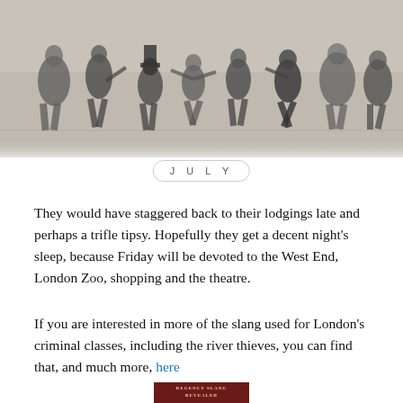[Figure (illustration): Black and white engraving of a Regency-era street scene with multiple figures in period costume, some dancing or carousing, in a lively outdoor setting.]
JULY
They would have staggered back to their lodgings late and perhaps a trifle tipsy. Hopefully they get a decent night's sleep, because Friday will be devoted to the West End, London Zoo, shopping and the theatre.
If you are interested in more of the slang used for London's criminal classes, including the river thieves, you can find that, and much more, here
[Figure (illustration): Book cover of 'Regency Slang Revealed' showing a colourful fight scene with figures in Regency period dress.]